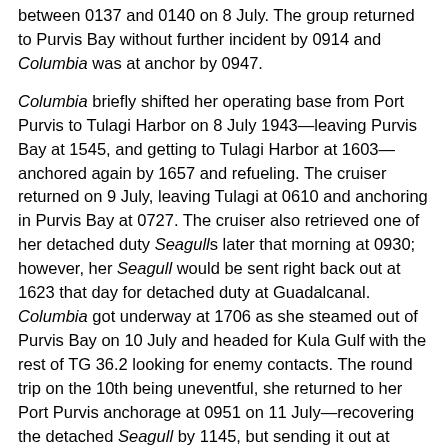between 0137 and 0140 on 8 July. The group returned to Purvis Bay without further incident by 0914 and Columbia was at anchor by 0947.
Columbia briefly shifted her operating base from Port Purvis to Tulagi Harbor on 8 July 1943—leaving Purvis Bay at 1545, and getting to Tulagi Harbor at 1603—anchored again by 1657 and refueling. The cruiser returned on 9 July, leaving Tulagi at 0610 and anchoring in Purvis Bay at 0727. The cruiser also retrieved one of her detached duty Seagulls later that morning at 0930; however, her Seagull would be sent right back out at 1623 that day for detached duty at Guadalcanal. Columbia got underway at 1706 as she steamed out of Purvis Bay on 10 July and headed for Kula Gulf with the rest of TG 36.2 looking for enemy contacts. The round trip on the 10th being uneventful, she returned to her Port Purvis anchorage at 0951 on 11 July—recovering the detached Seagull by 1145, but sending it out at 1406 for duty at Halavo. Columbia raised anchor shortly thereafter, underway and steaming out of Purvis Bay at 1418 on 11 July.
Operations on 11 July 1943 pulled Columbia into the company of TG 36.9—though the cruiser spent the afternoon of 11 July mostly on maneuvering exercises. TG 36.9, under Adm. Merrill, was formed initially with four subunits. Columbia and her sister ships Cleveland, Denver, and